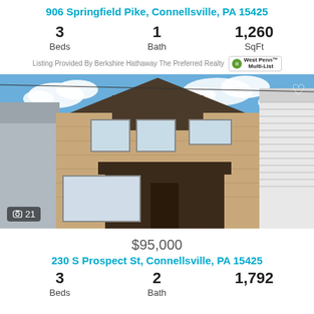906 Springfield Pike, Connellsville, PA 15425
3 Beds   1 Bath   1,260 SqFt
Listing Provided By Berkshire Hathaway The Preferred Realty  West Penn Multi-List
[Figure (photo): Exterior photo of a two-story brick/stone house with a covered porch, flanked by neighboring homes, blue sky with clouds. Photo counter shows 21 images.]
$95,000
230 S Prospect St, Connellsville, PA 15425
3 Beds   2 Bath   1,792 SqFt